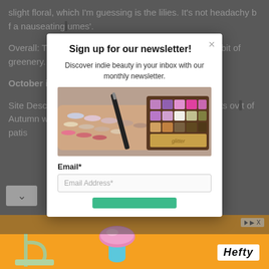slight floral, which I'm guessing is the lilies. It's not headachy but nauseating
Overall: This clean aquatic. If you'll like this one. There bit of greenery.
October in
Site Description usque de Provence (c oven as the sun sets over t of Autumn wa ern France. A ribbon of sweet hint patis
Sign up for our newsletter!
Discover indie beauty in your inbox with our monthly newsletter.
[Figure (photo): Hand with eyeshadow swatches next to a brown eyeshadow palette with colorful pans]
Email*
Email Address*
[Figure (photo): Hefty advertisement banner with orange background, decorative 3D objects, and Hefty logo]